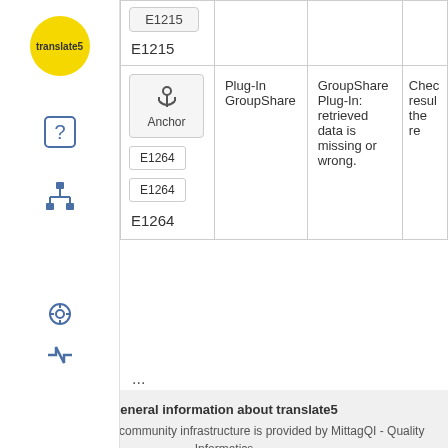| Icon/Code | Plug-In | Description | Action |
| --- | --- | --- | --- |
| E1215 |  |  |  |
| Anchor / E1264 / E1264 / E1264 | Plug-In GroupShare | GroupShare Plug-In: retrieved data is missing or wrong. | Chec resul the re |
...
General information about translate5
translate5 project community infrastructure is provided by MittagQI - Quality Informatics
Powered by Atlassian Confluence - this installation is provided for transl...
[Figure (logo): Atlassian logo with triangle icon and ATLASSIAN wordmark]